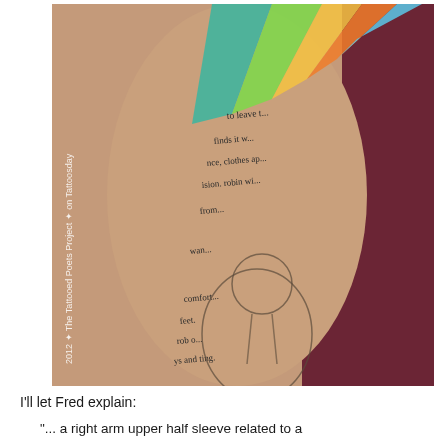[Figure (photo): A photograph of a person's arm showing a tattoo sleeve. The tattoo features colorful rainbow/spectrum rays at the top in green, yellow, orange, and blue, along with text written in cursive script down the arm and an outline drawing of a figure (appears to be a character) in the lower portion. The arm is resting against what appears to a dark maroon/burgundy fabric. A vertical watermark text reads '2012 + The Tattooed Poets Project + on Tattoosday' along the left side of the photo.]
I'll let Fred explain:
"... a right arm upper half sleeve related to a